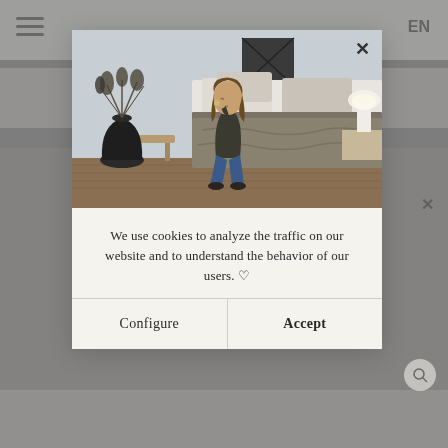[Figure (screenshot): Website screenshot showing a bedroom lifestyle page in the background, partially obscured by a gray overlay. A modal dialog is displayed in the center with a close X button at top right.]
[Figure (photo): Photo of a woman with long brown hair wearing a dark long-sleeve top and blue jeans, sitting on the edge of a bed with olive/sage linen bedding. A black vase with dried plants, a wooden stool, and a white lamp on a nightstand are visible in the background. The room has light walls and wooden flooring.]
We use cookies to analyze the traffic on our website and to understand the behavior of our users. ♡
Configure
Accept